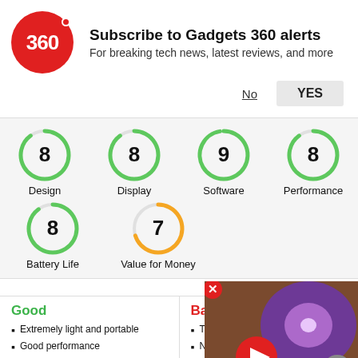Subscribe to Gadgets 360 alerts
For breaking tech news, latest reviews, and more
[Figure (infographic): Score circles for Design (8), Display (8), Software (9), Performance (8), Battery Life (8), Value for Money (7)]
Extremely light and portable
Good performance
USB Type-C port
Good battery life
Type-
No L
Expensive
[Figure (screenshot): Video overlay showing a TV with a galaxy display and play button]